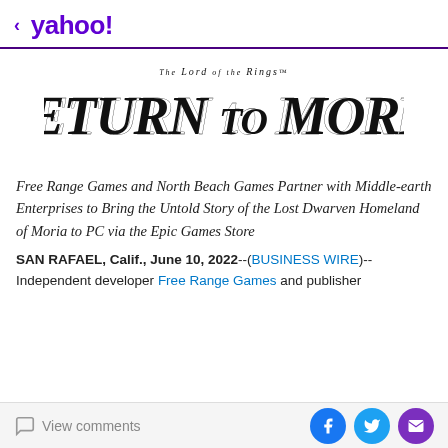< yahoo!
[Figure (logo): The Lord of the Rings: Return to Moria game logo in stylized fantasy typography]
Free Range Games and North Beach Games Partner with Middle-earth Enterprises to Bring the Untold Story of the Lost Dwarven Homeland of Moria to PC via the Epic Games Store
SAN RAFAEL, Calif., June 10, 2022--(BUSINESS WIRE)-- Independent developer Free Range Games and publisher
View comments